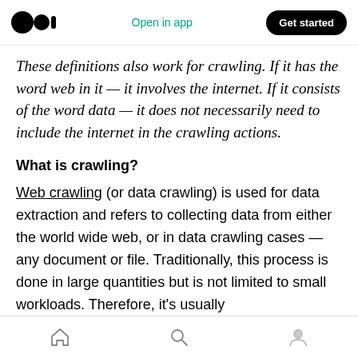Medium logo | Open in app | Get started
These definitions also work for crawling. If it has the word web in it — it involves the internet. If it consists of the word data — it does not necessarily need to include the internet in the crawling actions.
What is crawling?
Web crawling (or data crawling) is used for data extraction and refers to collecting data from either the world wide web, or in data crawling cases — any document or file. Traditionally, this process is done in large quantities but is not limited to small workloads. Therefore, it's usually
Home | Search | Profile